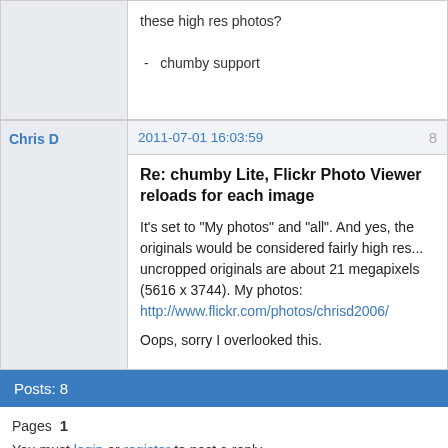these high res photos?

-  chumby support
Chris D
2011-07-01 16:03:59
8
Re: chumby Lite, Flickr Photo Viewer reloads for each image
It's set to "My photos" and "all". And yes, the originals would be considered fairly high res... uncropped originals are about 21 megapixels (5616 x 3744). My photos: http://www.flickr.com/photos/chrisd2006/

Oops, sorry I overlooked this.
Posts: 8
Pages  1
You must login or register to post a reply